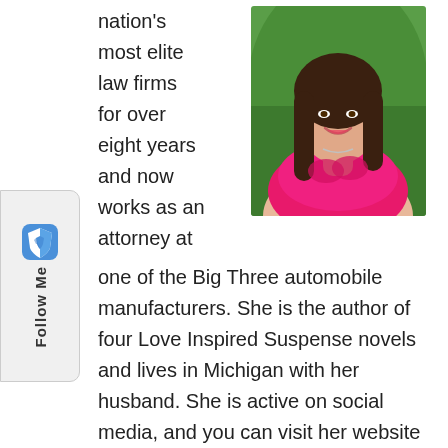[Figure (photo): Follow Me sidebar button with Brave browser lion shield logo icon in blue/white and 'Follow Me' text rotated vertically]
nation's most elite law firms for over eight years and now works as an attorney at one of the Big Three automobile manufacturers. She is the author of four Love Inspired Suspense novels and lives in Michigan with her husband. She is active on social media, and you can visit her website at www.racheldylan.com.
[Figure (photo): Photo of a smiling woman with long dark hair wearing a pink ruffled sleeveless top and a necklace, posed outdoors with green foliage background]